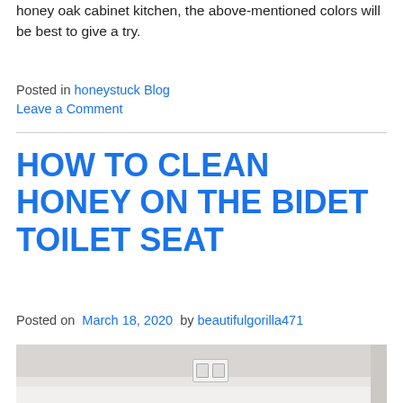honey oak cabinet kitchen, the above-mentioned colors will be best to give a try.
Posted in honeystuck Blog
Leave a Comment
HOW TO CLEAN HONEY ON THE BIDET TOILET SEAT
Posted on March 18, 2020 by beautifulgorilla471
[Figure (photo): Bathroom interior with white/grey walls, a light switch in the center, and white baseboard trim at the bottom.]